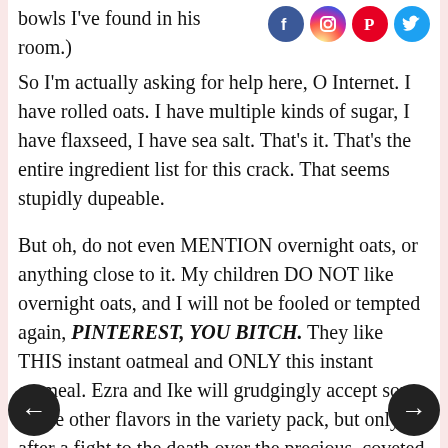bowls I've found in his room.)
[Figure (logo): Social media icons: Facebook, Instagram, Pinterest, Twitter]
So I'm actually asking for help here, O Internet. I have rolled oats. I have multiple kinds of sugar, I have flaxseed, I have sea salt. That's it. That's the entire ingredient list for this crack. That seems stupidly dupeable.
But oh, do not even MENTION overnight oats, or anything close to it. My children DO NOT like overnight oats, and I will not be fooled or tempted again, PINTEREST, YOU BITCH. They like THIS instant oatmeal and ONLY this instant oatmeal. Ezra and Ike will grudgingly accept some of the other flavors in the variety pack, but only after a fight to the death over the precious, coveted Flax Plus. I can occasionally convince them to make it with milk, but
[Figure (other): Left navigation arrow button (black circle with white left arrow)]
[Figure (other): Right navigation arrow button (black circle with white right arrow)]